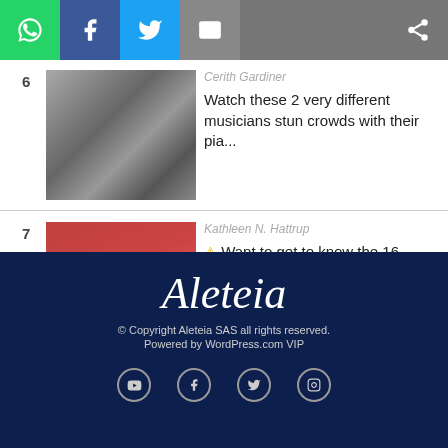[Figure (screenshot): Social share bar with WhatsApp, Facebook, Twitter, Email, and more share buttons]
6
[Figure (photo): Two photos of musicians playing piano]
Cerith Gardiner
Watch these 2 very different musicians stun crowds with their pia...
7
[Figure (photo): Group of cardinals in red robes seated in rows]
Kathleen N. Hattrup
Want to get to know the 16 new cardinal electors? Here are their ...
SEE MORE
Aleteia
© Copyright Aleteia SAS all rights reserved. Powered by WordPress.com VIP